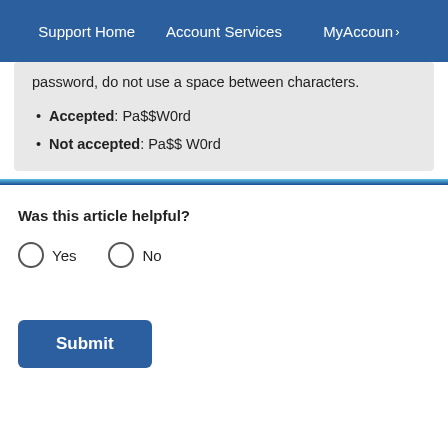Support Home | Account Services | MyAccount
password, do not use a space between characters.
Accepted: Pa$$W0rd
Not accepted: Pa$$ W0rd
Was this article helpful?
Yes   No
Submit